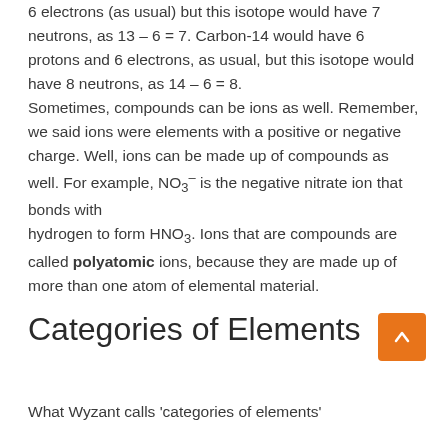6 electrons (as usual) but this isotope would have 7 neutrons, as 13 – 6 = 7. Carbon-14 would have 6 protons and 6 electrons, as usual, but this isotope would have 8 neutrons, as 14 – 6 = 8. Sometimes, compounds can be ions as well. Remember, we said ions were elements with a positive or negative charge. Well, ions can be made up of compounds as well. For example, NO3⁻ is the negative nitrate ion that bonds with hydrogen to form HNO3. Ions that are compounds are called polyatomic ions, because they are made up of more than one atom of elemental material.
Categories of Elements
What Wyzant calls 'categories of elements'